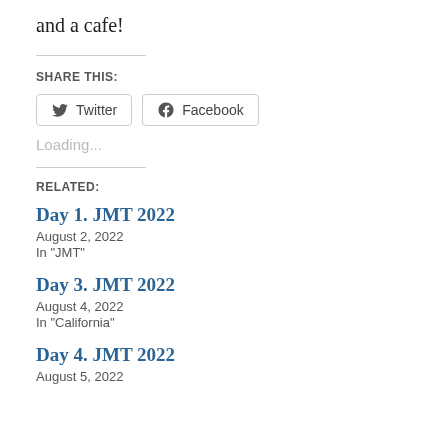and a cafe!
SHARE THIS:
Twitter  Facebook
Loading...
RELATED:
Day 1. JMT 2022
August 2, 2022
In "JMT"
Day 3. JMT 2022
August 4, 2022
In "California"
Day 4. JMT 2022
August 5, 2022